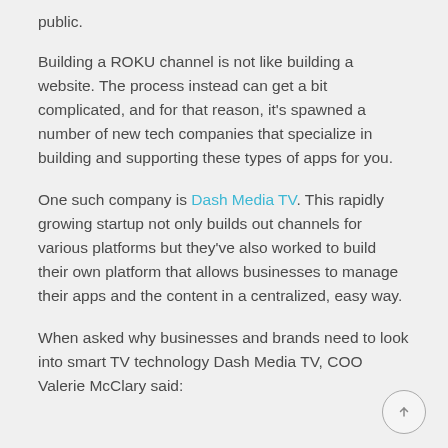public.
Building a ROKU channel is not like building a website. The process instead can get a bit complicated, and for that reason, it's spawned a number of new tech companies that specialize in building and supporting these types of apps for you.
One such company is Dash Media TV. This rapidly growing startup not only builds out channels for various platforms but they've also worked to build their own platform that allows businesses to manage their apps and the content in a centralized, easy way.
When asked why businesses and brands need to look into smart TV technology Dash Media TV, COO Valerie McClary said: